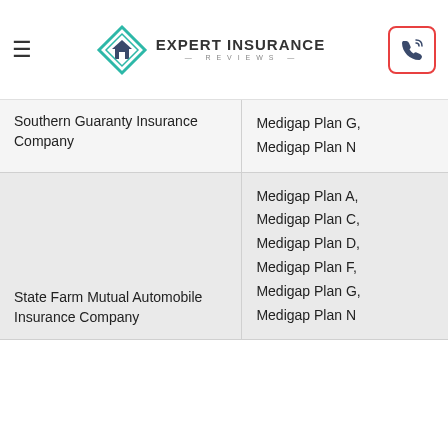Expert Insurance Reviews
| Company | Plans |
| --- | --- |
| Southern Guaranty Insurance Company | Medigap Plan G, Medigap Plan N |
| State Farm Mutual Automobile Insurance Company | Medigap Plan A, Medigap Plan C, Medigap Plan D, Medigap Plan F, Medigap Plan G, Medigap Plan N |